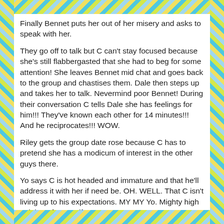Finally Bennet puts her out of her misery and asks to speak with her.
They go off to talk but C can't stay focused because she's still flabbergasted that she had to beg for some attention! She leaves Bennet mid chat and goes back to the group and chastises them. Dale then steps up and takes her to talk. Nevermind poor Bennet! During their conversation C tells Dale she has feelings for him!!! They've known each other for 14 minutes!!! And he reciprocates!!! WOW.
Riley gets the group date rose because C has to pretend she has a modicum of interest in the other guys there.
Yo says C is hot headed and immature and that he'll address it with her if need be. OH. WELL. That C isn't living up to his expectations. MY MY Yo. Mighty high opinion of yourself!